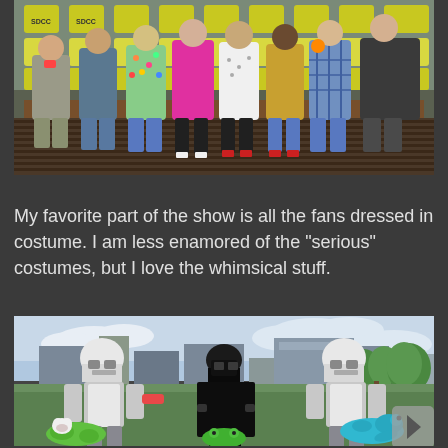[Figure (photo): Group photo of several people (TV show cast or panel members) standing together at what appears to be San Diego Comic-Con, in front of a Comic-Con branded backdrop.]
My favorite part of the show is all the fans dressed in costume. I am less enamored of the "serious" costumes, but I love the whimsical stuff.
[Figure (photo): Outdoor photo of three people dressed in Star Wars costumes (two Stormtroopers and one Darth Vader) holding inflatable toys (a green frog and a teal duck/animal) outside near what appears to be the San Diego Convention Center.]